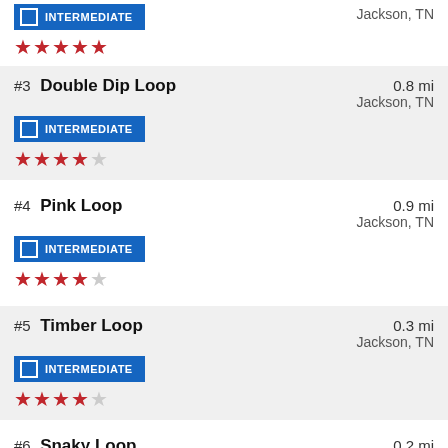#2 (partial) INTERMEDIATE | Jackson, TN | 5 stars
#3 Double Dip Loop | INTERMEDIATE | 0.8 mi | Jackson, TN | 4 stars
#4 Pink Loop | INTERMEDIATE | 0.9 mi | Jackson, TN | 4 stars
#5 Timber Loop | INTERMEDIATE | 0.3 mi | Jackson, TN | 4 stars
#6 Snaky Loop | INTERMEDIATE | 0.2 mi | Jackson, TN | 4 stars